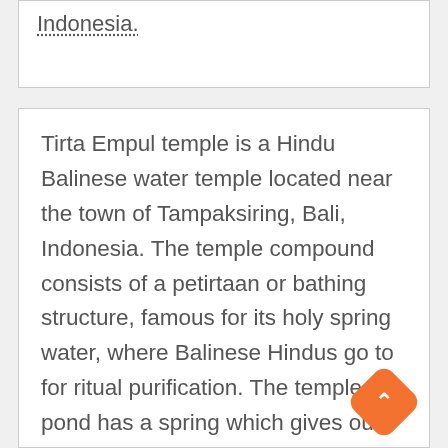Indonesia.
Tirta Empul temple is a Hindu Balinese water temple located near the town of Tampaksiring, Bali, Indonesia. The temple compound consists of a petirtaan or bathing structure, famous for its holy spring water, where Balinese Hindus go to for ritual purification. The temple pond has a spring which gives out fresh water regularly, which Balinese Hindus consider to be holy or amritha. Tirta Empul means Holy Spring in Balinese. Tirta Empul Temple was founded around a large water spring